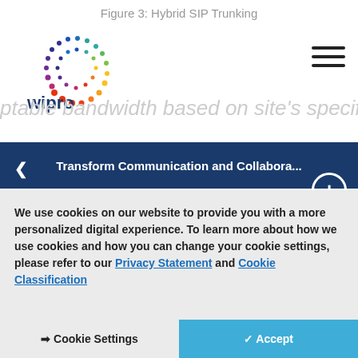[Figure (logo): Wipro logo with colorful dot pattern]
Figure 3: Hybrid SIP Trunking
ptable bandwidth based on site's specific
Transform Communication and Collabora...
sites that connect directly to the IP PSTN
Quality of Service (QoS) and Call Admission Control (CAC) for those parts of the network that are linked to a regional or central hub
Survivability is built in for sites linked to the IP PSTN
We use cookies on our website to provide you with a more personalized digital experience. To learn more about how we use cookies and how you can change your cookie settings, please refer to our Privacy Statement and Cookie Classification
Cookie Settings   Accept